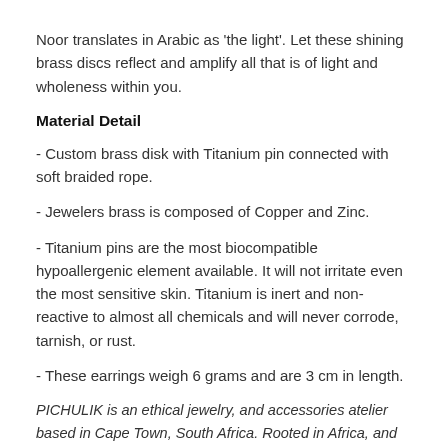Noor translates in Arabic as 'the light'. Let these shining brass discs reflect and amplify all that is of light and wholeness within you.
Material Detail
- Custom brass disk with Titanium pin connected with soft braided rope.
- Jewelers brass is composed of Copper and Zinc.
- Titanium pins are the most biocompatible hypoallergenic element available. It will not irritate even the most sensitive skin. Titanium is inert and non-reactive to almost all chemicals and will never corrode, tarnish, or rust.
- These earrings weigh 6 grams and are 3 cm in length.
PICHULIK is an ethical jewelry, and accessories atelier based in Cape Town, South Africa. Rooted in Africa, and inspired by ancient traditions and cultures around the world, PICHULIK seeks to impart sacred feminine wisdom through jewelry, and through celebration.